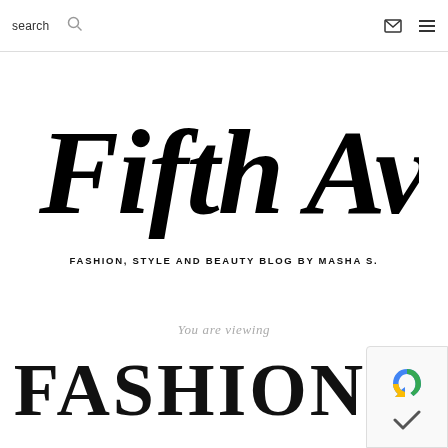search  [search icon]  [mail icon]  [menu icon]
[Figure (logo): Fifth Avenue Girl cursive handwritten logo in large black script font]
FASHION, STYLE AND BEAUTY BLOG BY MASHA S.
You are viewing
FASHION